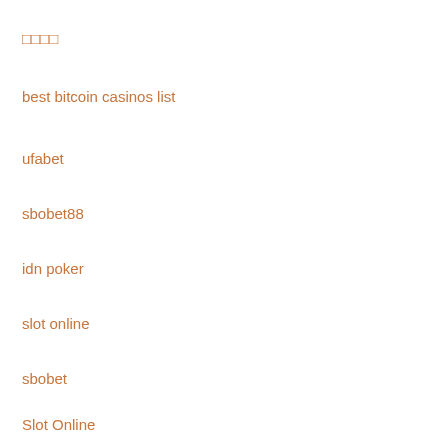□□□□
best bitcoin casinos list
ufabet
sbobet88
idn poker
slot online
sbobet
Slot Online